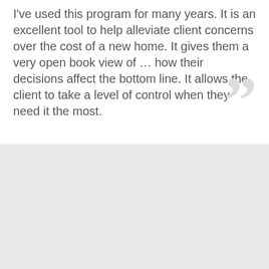I've used this program for many years. It is an excellent tool to help alleviate client concerns over the cost of a new home. It gives them a very open book view of ... how their decisions affect the bottom line. It allows the client to take a level of control when they need it the most.
[Figure (map): Street and water map showing a metropolitan area with roads, highways, and a large bay/lake water body on the right side. Roads appear in orange/yellow on a beige background with blue water areas.]